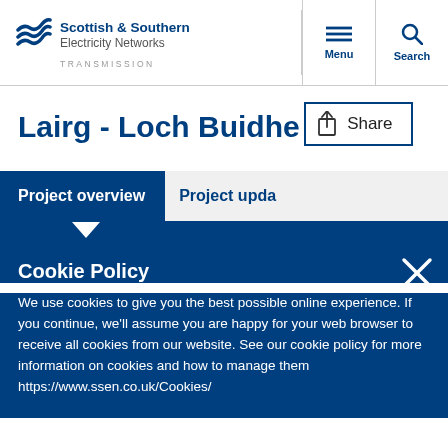Scottish & Southern Electricity Networks TRANSMISSION
Lairg - Loch Buidhe
Share
Project overview
Project upda
Cookie Policy
We use cookies to give you the best possible online experience. If you continue, we'll assume you are happy for your web browser to receive all cookies from our website. See our cookie policy for more information on cookies and how to manage them https://www.ssen.co.uk/Cookies/